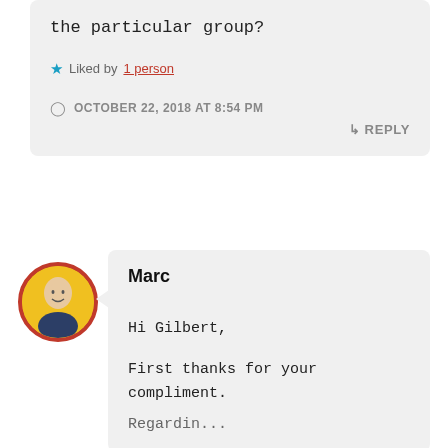the particular group?
Liked by 1 person
OCTOBER 22, 2018 AT 8:54 PM
REPLY
Marc
Hi Gilbert,

First thanks for your compliment.

Regarding...